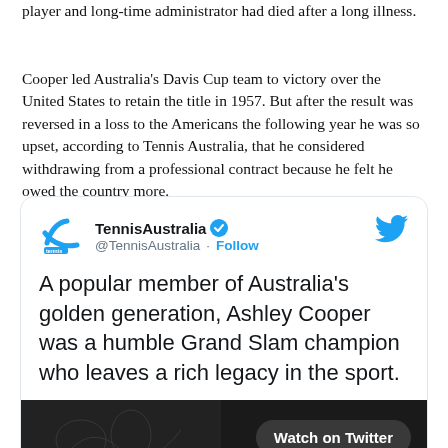player and long-time administrator had died after a long illness.
Cooper led Australia's Davis Cup team to victory over the United States to retain the title in 1957. But after the result was reversed in a loss to the Americans the following year he was so upset, according to Tennis Australia, that he considered withdrawing from a professional contract because he felt he owed the country more.
[Figure (screenshot): Embedded tweet from @TennisAustralia (verified account) with Twitter bird logo. Tweet text: 'A popular member of Australia's golden generation, Ashley Cooper was a humble Grand Slam champion who leaves a rich legacy in the sport.' Below tweet text is a dark image bar with a 'Watch on Twitter' button.]